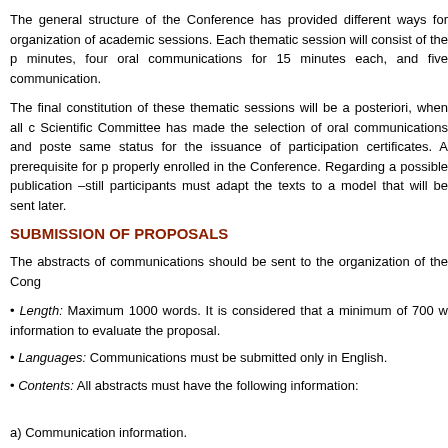The general structure of the Conference has provided different ways for organization of academic sessions. Each thematic session will consist of the p minutes, four oral communications for 15 minutes each, and five communication.
The final constitution of these thematic sessions will be a posteriori, when all c Scientific Committee has made the selection of oral communications and poste same status for the issuance of participation certificates. A prerequisite for p properly enrolled in the Conference. Regarding a possible publication –still participants must adapt the texts to a model that will be sent later.
SUBMISSION OF PROPOSALS
The abstracts of communications should be sent to the organization of the Cong
Length: Maximum 1000 words. It is considered that a minimum of 700 w information to evaluate the proposal.
Languages: Communications must be submitted only in English.
Contents: All abstracts must have the following information:
a) Communication information.
– Title.